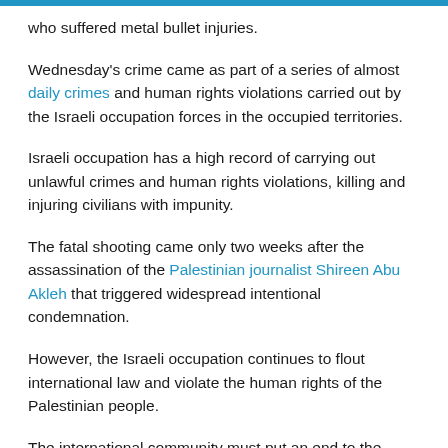who suffered metal bullet injuries.
Wednesday's crime came as part of a series of almost daily crimes and human rights violations carried out by the Israeli occupation forces in the occupied territories.
Israeli occupation has a high record of carrying out unlawful crimes and human rights violations, killing and injuring civilians with impunity.
The fatal shooting came only two weeks after the assassination of the Palestinian journalist Shireen Abu Akleh that triggered widespread intentional condemnation.
However, the Israeli occupation continues to flout international law and violate the human rights of the Palestinian people.
The international community must put an end to the culture